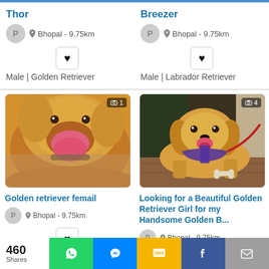Thor
P  Bhopal - 9.75km
Male | Golden Retriever
Breezer
P  Bhopal - 9.75km
Male | Labrador Retriever
[Figure (photo): Golden retriever dog with mouth open and tongue out, close-up shot with camera icon and '1' badge]
Golden retriever femail
P  Bhopal - 9.75km
[Figure (photo): Golden retriever dog wearing purple harness with red leash, lying on wooden deck, with camera icon and '4' badge]
Looking for a Beautiful Golden Retriever Girl for my Handsome Golden B...
P  Bhopal - 9.75km
460 Shares